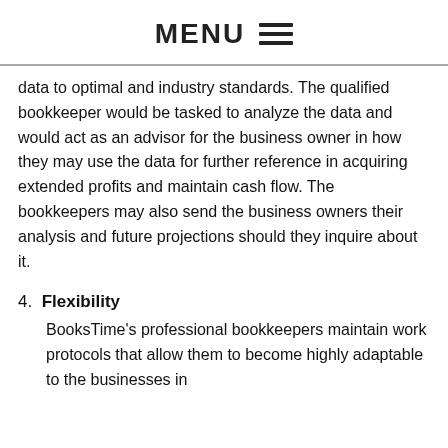MENU ☰
data to optimal and industry standards. The qualified bookkeeper would be tasked to analyze the data and would act as an advisor for the business owner in how they may use the data for further reference in acquiring extended profits and maintain cash flow. The bookkeepers may also send the business owners their analysis and future projections should they inquire about it.
4. Flexibility
BooksTime's professional bookkeepers maintain work protocols that allow them to become highly adaptable to the businesses in